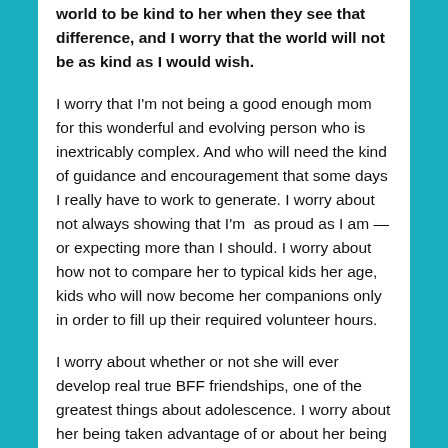world to be kind to her when they see that difference, and I worry that the world will not be as kind as I would wish.
I worry that I'm not being a good enough mom for this wonderful and evolving person who is inextricably complex. And who will need the kind of guidance and encouragement that some days I really have to work to generate. I worry about not always showing that I'm as proud as I am — or expecting more than I should. I worry about how not to compare her to typical kids her age, kids who will now become her companions only in order to fill up their required volunteer hours.
I worry about whether or not she will ever develop real true BFF friendships, one of the greatest things about adolescence. I worry about her being taken advantage of or about her being bullied or teased or worse. I worry about her never being able to read, while her counterparts recite valedictorian speeches in French. I worry that she's getting a grade 8 diploma and can't write more than her name. I worry she'll get lost in the educational system that